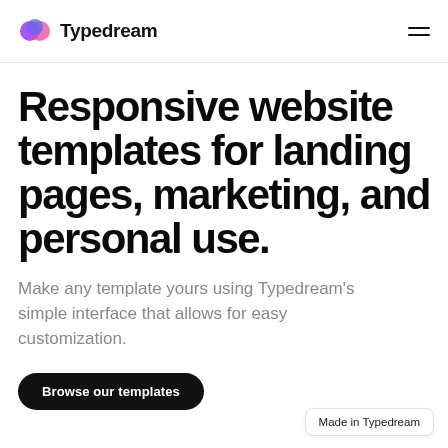Typedream
Responsive website templates for landing pages, marketing, and personal use.
Make any template yours using Typedream's simple interface that allows for easy customization.
Browse our templates
Made in Typedream